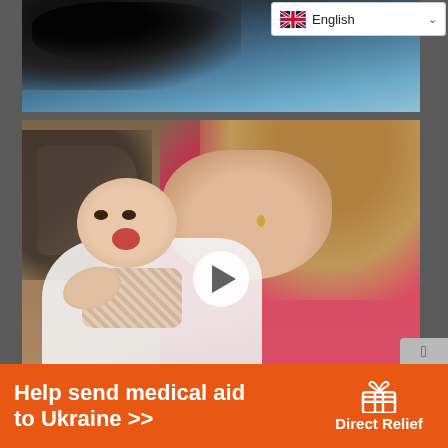[Figure (screenshot): Language selector dropdown showing UK flag and 'English' text with a chevron/dropdown arrow, on a white background]
[Figure (photo): Top partial image showing a dark/blue scene with dark splash or debris on upper left and blue sky/water gradient]
[Figure (photo): Video thumbnail of a woman in a pink shirt leaning over a laughing baby lying down; a white play button is centered over the image; background shows wooden floor and a stroller/bag in the corner]
[Figure (photo): Partial bottom image showing a warm brown/tan scene, partially cut off]
Help send medical aid to Ukraine >>
[Figure (logo): Direct Relief logo: white box/gift icon with 'Direct Relief' text in white on orange background]